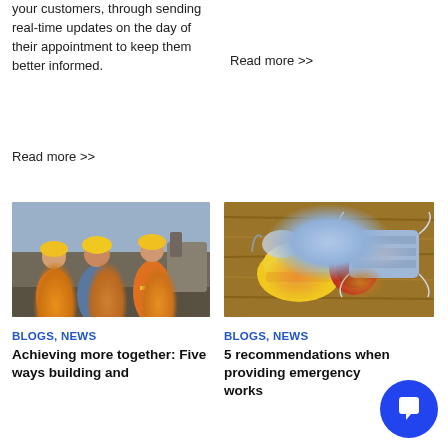your customers, through sending real-time updates on the day of their appointment to keep them better informed.
Read more >>
Read more >>
[Figure (photo): Three construction workers in yellow hard hats and orange high-visibility vests talking on a job site]
BLOGS, NEWS
Achieving more together: Five ways building and
[Figure (photo): Safety equipment on a wooden surface: yellow hard hat, ear defenders/headphones, safety glasses, and a blue surgical face mask]
BLOGS, NEWS
5 recommendations when providing emergency works